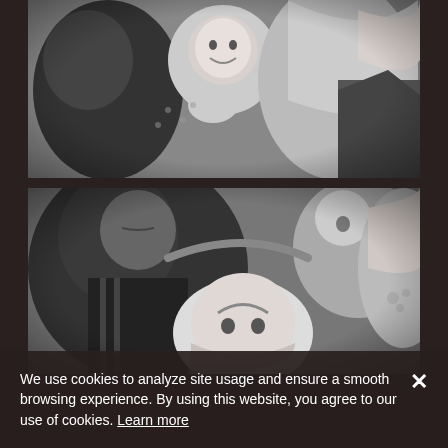[Figure (photo): Black and white family photo: adults kissing/holding a smiling baby, close-up portrait style]
[Figure (photo): Black and white family photo: man looking down at a child who is upside-down, smiling broadly; woman and another child visible in background]
We use cookies to analyze site usage and ensure a smooth browsing experience. By using this website, you agree to our use of cookies. Learn more ✕